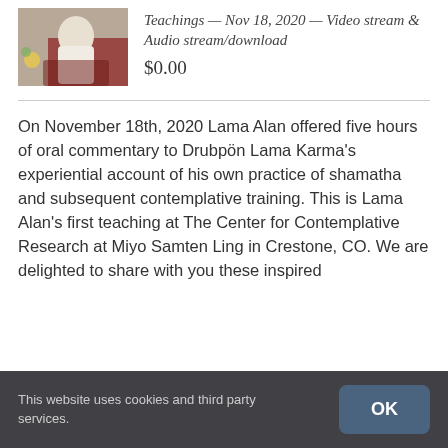[Figure (photo): Thumbnail photo of a person seated, wearing white, with flowers visible in the background]
Teachings — Nov 18, 2020 — Video stream & Audio stream/download $0.00
On November 18th, 2020 Lama Alan offered five hours of oral commentary to Drubpön Lama Karma's experiential account of his own practice of shamatha and subsequent contemplative training. This is Lama Alan's first teaching at The Center for Contemplative Research at Miyo Samten Ling in Crestone, CO. We are delighted to share with you these inspired
This website uses cookies and third party services.